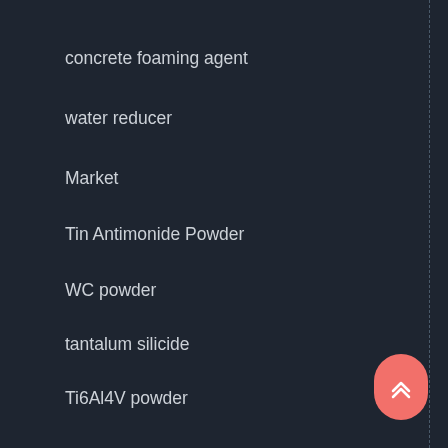concrete foaming agent
water reducer
Market
Tin Antimonide Powder
WC powder
tantalum silicide
Ti6Al4V powder
Inconel 625 powder
polycarboxylate superplasticizer
ZrSi2 Powder
Mo2C Powder
Bi2S3 powder